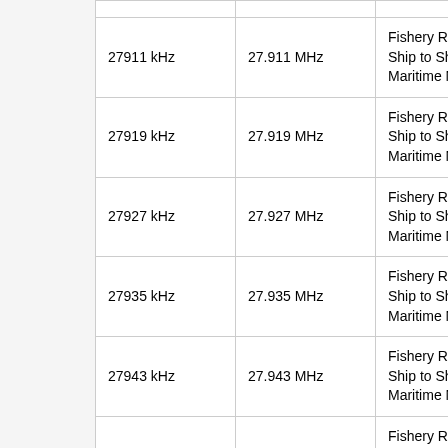|  |  |  |
| --- | --- | --- |
| 27911 kHz | 27.911 MHz | Fishery Radio - Ship to Ship Maritime Mobile |
| 27919 kHz | 27.919 MHz | Fishery Radio - Ship to Ship Maritime Mobile |
| 27927 kHz | 27.927 MHz | Fishery Radio - Ship to Ship Maritime Mobile |
| 27935 kHz | 27.935 MHz | Fishery Radio - Ship to Ship Maritime Mobile |
| 27943 kHz | 27.943 MHz | Fishery Radio - Ship to Ship Maritime Mobile |
| 27789 kHz | 27.789 MHz | Fishery Radio - Fisheries Radio Shore-to-Ship |
| 27805 kHz | 27.805 MHz | Fishery Radio - Fisheries Radio Shore-to-Ship |